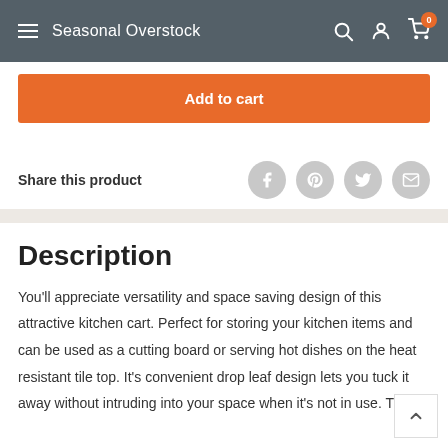Seasonal Overstock
Add to cart
Share this product
Description
You'll appreciate versatility and space saving design of this attractive kitchen cart. Perfect for storing your kitchen items and can be used as a cutting board or serving hot dishes on the heat resistant tile top. It's convenient drop leaf design lets you tuck it away without intruding into your space when it's not in use. The